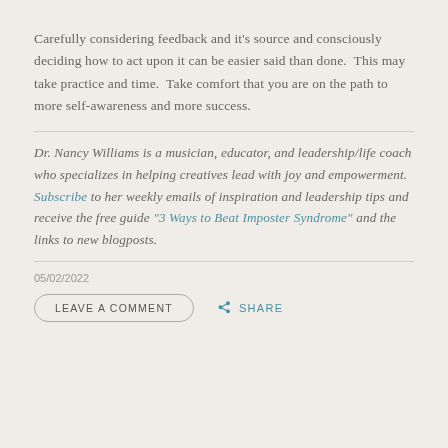Carefully considering feedback and it's source and consciously deciding how to act upon it can be easier said than done.  This may take practice and time.  Take comfort that you are on the path to more self-awareness and more success.
Dr. Nancy Williams is a musician, educator, and leadership/life coach who specializes in helping creatives lead with joy and empowerment.  Subscribe to her weekly emails of inspiration and leadership tips and receive the free guide "3 Ways to Beat Imposter Syndrome" and the links to new blogposts.
05/02/2022
LEAVE A COMMENT   SHARE